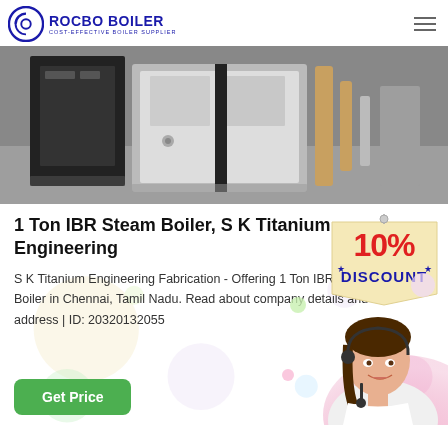ROCBO BOILER - COST-EFFECTIVE BOILER SUPPLIER
[Figure (photo): Industrial boiler equipment in a facility room with large black and white/grey panels, piping visible in background]
1 Ton IBR Steam Boiler, S K Titanium Engineering
[Figure (infographic): 10% DISCOUNT badge/label in red and blue on a beige tag shape]
S K Titanium Engineering Fabrication - Offering 1 Ton IBR Steam Boiler in Chennai, Tamil Nadu. Read about company details and address | ID: 20320132055
[Figure (photo): Customer service representative woman with headset smiling, with decorative pink/purple bubbles and colorful dot decorations]
Get Price